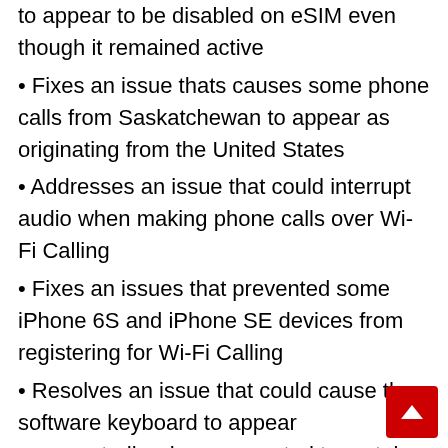to appear to be disabled on eSIM even though it remained active
Fixes an issue thats causes some phone calls from Saskatchewan to appear as originating from the United States
Addresses an issue that could interrupt audio when making phone calls over Wi-Fi Calling
Fixes an issues that prevented some iPhone 6S and iPhone SE devices from registering for Wi-Fi Calling
Resolves an issue that could cause the software keyboard to appear unexpectedly when connected to certain third-party hardware keyboards
Fixes an issue that could cause Japanese hardware keyboards to be incorrectly mapped as a U.S. keyboard